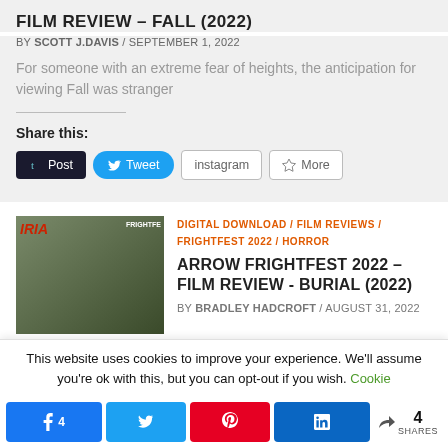FILM REVIEW – FALL (2022)
BY SCOTT J.DAVIS / SEPTEMBER 1, 2022
For someone with an extreme fear of heights, the anticipation for viewing Fall was stranger
Share this:
Post  Tweet  instagram  More
DIGITAL DOWNLOAD / FILM REVIEWS / FRIGHTFEST 2022 / HORROR
ARROW FRIGHTFEST 2022 – FILM REVIEW - BURIAL (2022)
BY BRADLEY HADCROFT / AUGUST 31, 2022
This website uses cookies to improve your experience. We'll assume you're ok with this, but you can opt-out if you wish. Cookie
4  (share buttons)  4 SHARES